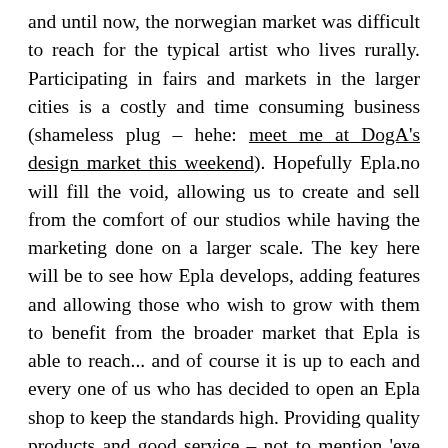and until now, the norwegian market was difficult to reach for the typical artist who lives rurally. Participating in fairs and markets in the larger cities is a costly and time consuming business (shameless plug – hehe: meet me at DogA's design market this weekend). Hopefully Epla.no will fill the void, allowing us to create and sell from the comfort of our studios while having the marketing done on a larger scale. The key here will be to see how Epla develops, adding features and allowing those who wish to grow with them to benefit from the broader market that Epla is able to reach... and of course it is up to each and every one of us who has decided to open an Epla shop to keep the standards high. Providing quality products and good service – not to mention 'eye candy' to keep the customers coming.
Check my shop next week, after the Design show at